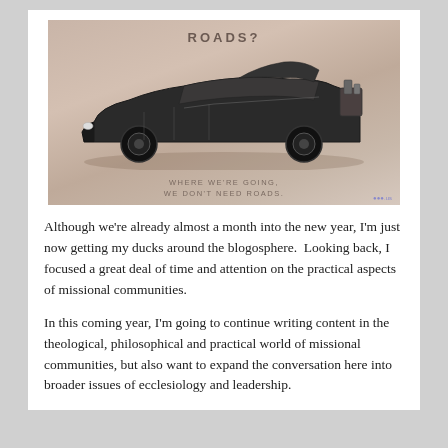[Figure (photo): Sepia-toned image of the DeLorean time machine from Back to the Future. The text 'ROADS?' appears at the top in spaced uppercase letters. Below the car image, text reads 'WHERE WE'RE GOING, WE DON'T NEED ROADS.' A small watermark logo appears at the bottom right.]
Although we're already almost a month into the new year, I'm just now getting my ducks around the blogosphere.  Looking back, I focused a great deal of time and attention on the practical aspects of missional communities.
In this coming year, I'm going to continue writing content in the theological, philosophical and practical world of missional communities, but also want to expand the conversation here into broader issues of ecclesiology and leadership.